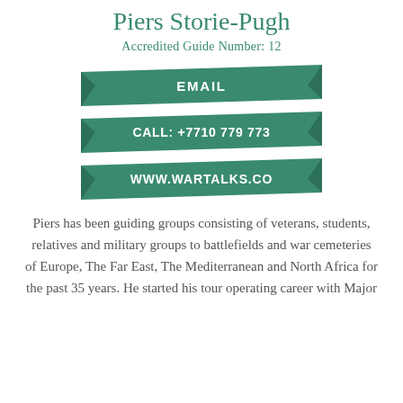Piers Storie-Pugh
Accredited Guide Number: 12
EMAIL
CALL: +7710 779 773
WWW.WARTALKS.CO
Piers has been guiding groups consisting of veterans, students, relatives and military groups to battlefields and war cemeteries of Europe, The Far East, The Mediterranean and North Africa for the past 35 years. He started his tour operating career with Major